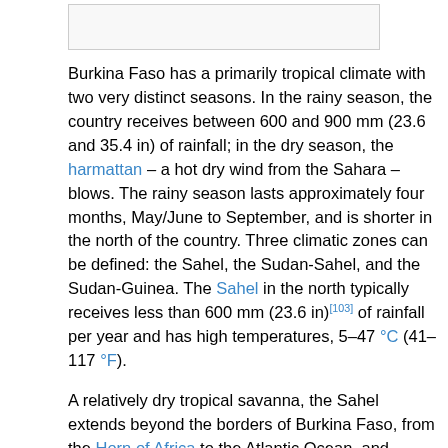[Figure (other): Empty rectangular box at top of page, likely an image placeholder]
Burkina Faso has a primarily tropical climate with two very distinct seasons. In the rainy season, the country receives between 600 and 900 mm (23.6 and 35.4 in) of rainfall; in the dry season, the harmattan – a hot dry wind from the Sahara – blows. The rainy season lasts approximately four months, May/June to September, and is shorter in the north of the country. Three climatic zones can be defined: the Sahel, the Sudan-Sahel, and the Sudan-Guinea. The Sahel in the north typically receives less than 600 mm (23.6 in)[103] of rainfall per year and has high temperatures, 5–47 °C (41–117 °F).
A relatively dry tropical savanna, the Sahel extends beyond the borders of Burkina Faso, from the Horn of Africa to the Atlantic Ocean, and borders the Sahara to its north and the fertile region of the Sudan to the south. Situated between 11° 3′ and 13° 5′ north latitude, the Sudan-Sahel region is a transitional zone with regards to rainfall and temperature. Further to the south, the Sudan-